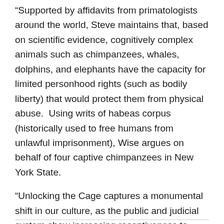“Supported by affidavits from primatologists around the world, Steve maintains that, based on scientific evidence, cognitively complex animals such as chimpanzees, whales, dolphins, and elephants have the capacity for limited personhood rights (such as bodily liberty) that would protect them from physical abuse.  Using writs of habeas corpus (historically used to free humans from unlawful imprisonment), Wise argues on behalf of four captive chimpanzees in New York State.
“Unlocking the Cage captures a monumental shift in our culture, as the public and judicial system show increasing receptiveness to Steve’s impassioned arguments. It is an intimate look at a lawsuit that could forever transform our legal system, and one man’s lifelong quest to protect “nonhuman” animals.”  –Source: Unlocking The Cage.